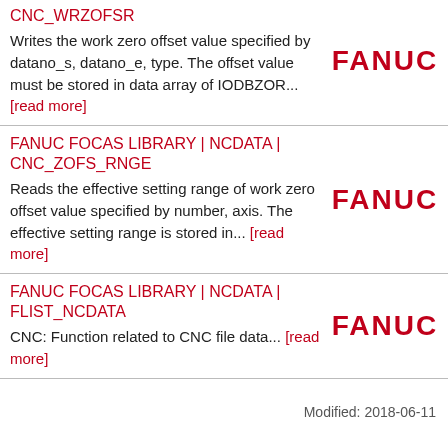CNC_WRZOFSR
Writes the work zero offset value specified by datano_s, datano_e, type. The offset value must be stored in data array of IODBZOR... [read more]
FANUC FOCAS LIBRARY | NCDATA | CNC_ZOFS_RNGE
Reads the effective setting range of work zero offset value specified by number, axis. The effective setting range is stored in... [read more]
FANUC FOCAS LIBRARY | NCDATA | FLIST_NCDATA
CNC: Function related to CNC file data... [read more]
Modified: 2018-06-11